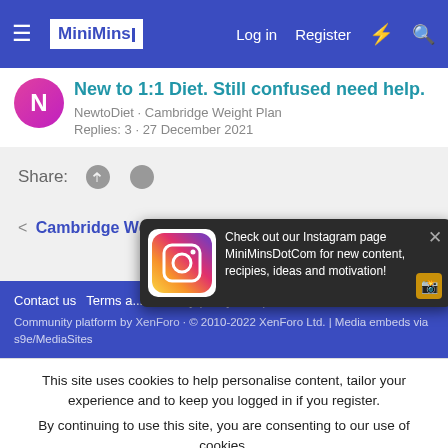MiniMins | Log in  Register
New to 1:1 Diet. Still confused need help.
NewtoDiet · Cambridge Weight Plan
Replies: 3 · 27 December 2021
Share:
< Cambridge Weight Plan
Contact us  Terms a...  Privacy policy  Help  Home
Community platform by XenForo © 2010-2022 XenForo Ltd. | Media embeds via s9e/MediaSites
[Figure (screenshot): Instagram logo icon with gradient colors (yellow, orange, pink, purple)]
Check out our Instagram page MiniMinsDotCom for new content, recipies, ideas and motivation!
This site uses cookies to help personalise content, tailor your experience and to keep you logged in if you register.
By continuing to use this site, you are consenting to our use of cookies.
✓ Accept   Learn more...